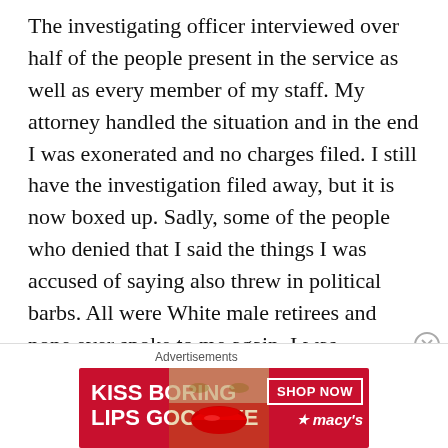The investigating officer interviewed over half of the people present in the service as well as every member of my staff. My attorney handled the situation and in the end I was exonerated and no charges filed. I still have the investigation filed away, but it is now boxed up. Sadly, some of the people who denied that I said the things I was accused of saying also threw in political barbs. All were White male retirees and none ever spoke to me again. I was shunned, but the Black members of the chapel congregation were very supportive, some still keep in touch with me. One said that my sermon was like "hearing the thunder of the voice of God." Honestly I do miss preaching, but I want nothing to do with the
Advertisements
[Figure (other): Advertisement banner for Macy's cosmetics. Red background with text 'KISS BORING LIPS GOODBYE', an image of a woman's lips, a 'SHOP NOW' button, and the Macy's star logo.]